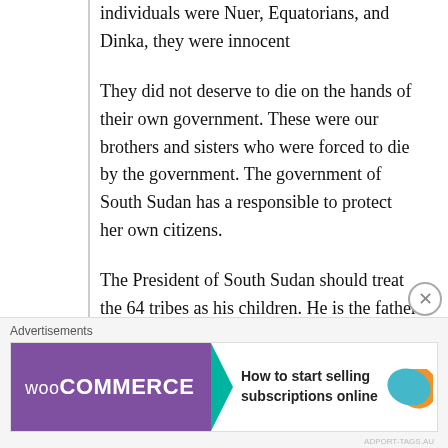individuals were Nuer, Equatorians, and Dinka, they were innocent
They did not deserve to die on the hands of their own government. These were our brothers and sisters who were forced to die by the government. The government of South Sudan has a responsible to protect her own citizens.
The President of South Sudan should treat the 64 tribes as his children. He is the father of the nation so he has a full responsibilities to leader and protect the 64 tribes citizens of the...
[Figure (other): WooCommerce advertisement banner: 'How to start selling subscriptions online' with teal arrow and orange/teal leaf decorations]